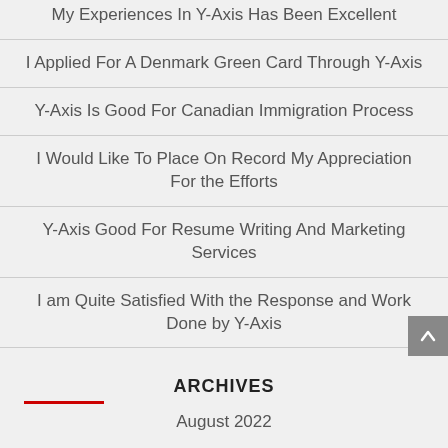My Experiences In Y-Axis Has Been Excellent
I Applied For A Denmark Green Card Through Y-Axis
Y-Axis Is Good For Canadian Immigration Process
I Would Like To Place On Record My Appreciation For the Efforts
Y-Axis Good For Resume Writing And Marketing Services
I am Quite Satisfied With the Response and Work Done by Y-Axis
ARCHIVES
August 2022